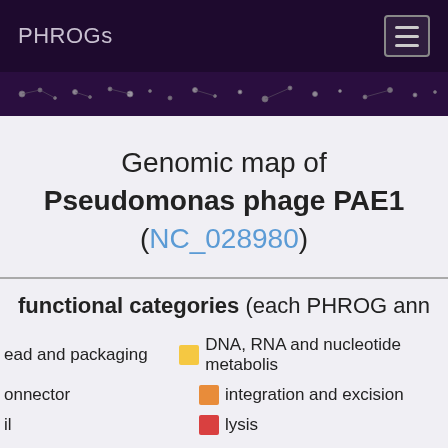PHROGs
Genomic map of Pseudomonas phage PAE1 (NC_028980)
functional categories (each PHROG ann…)
head and packaging
DNA, RNA and nucleotide metabolism
connector
integration and excision
lysis